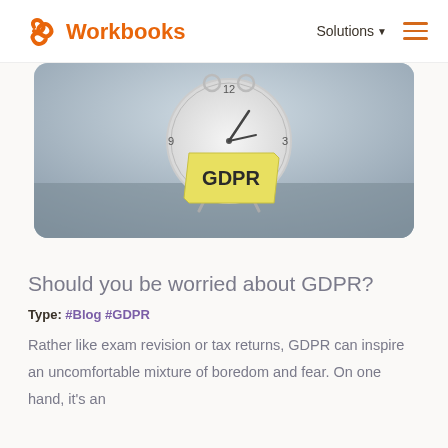Workbooks | Solutions
[Figure (photo): Alarm clock with a yellow sticky note reading GDPR, placed on a blueish-grey surface]
Should you be worried about GDPR?
Type: #Blog #GDPR
Rather like exam revision or tax returns, GDPR can inspire an uncomfortable mixture of boredom and fear. On one hand, it's an